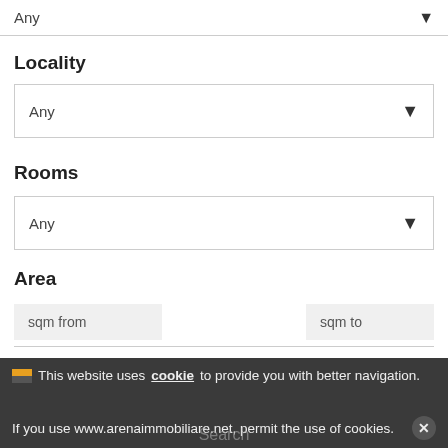Any
Locality
Any
Rooms
Any
Area
sqm from
sqm to
Price
€ from
€ to
This website uses cookie to provide you with better navigation. If you use www.arenaimmobiliare.net, permit the use of cookies.